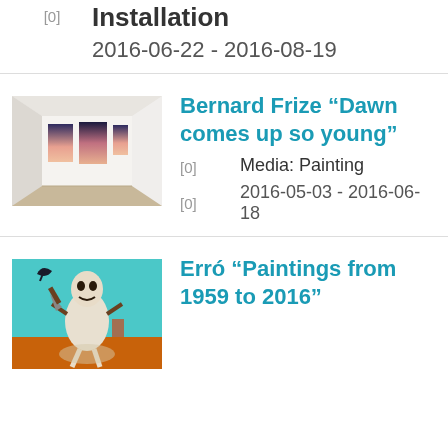Installation
[0]
2016-06-22 - 2016-08-19
[Figure (photo): Gallery room with large paintings of dark gradient works on white walls, wooden floor]
Bernard Frize “Dawn comes up so young”
[0]
Media: Painting
[0]
2016-05-03 - 2016-06-18
[Figure (photo): Colorful painting featuring a figure with a skeleton and surreal elements on teal background]
Erró “Paintings from 1959 to 2016”